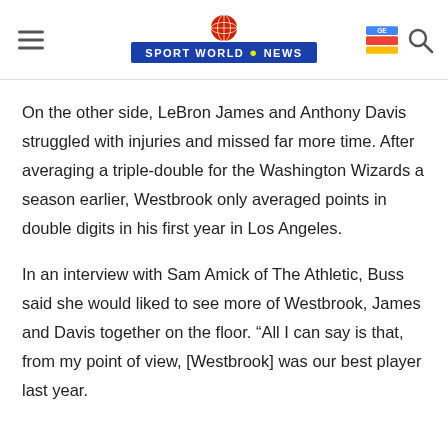Sport World News
On the other side, LeBron James and Anthony Davis struggled with injuries and missed far more time. After averaging a triple-double for the Washington Wizards a season earlier, Westbrook only averaged points in double digits in his first year in Los Angeles.
In an interview with Sam Amick of The Athletic, Buss said she would liked to see more of Westbrook, James and Davis together on the floor. “All I can say is that, from my point of view, [Westbrook] was our best player last year.